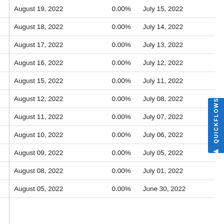| August 19, 2022 | 0.00% | July 15, 2022 |
| August 18, 2022 | 0.00% | July 14, 2022 |
| August 17, 2022 | 0.00% | July 13, 2022 |
| August 16, 2022 | 0.00% | July 12, 2022 |
| August 15, 2022 | 0.00% | July 11, 2022 |
| August 12, 2022 | 0.00% | July 08, 2022 |
| August 11, 2022 | 0.00% | July 07, 2022 |
| August 10, 2022 | 0.00% | July 06, 2022 |
| August 09, 2022 | 0.00% | July 05, 2022 |
| August 08, 2022 | 0.00% | July 01, 2022 |
| August 05, 2022 | 0.00% | June 30, 2022 |